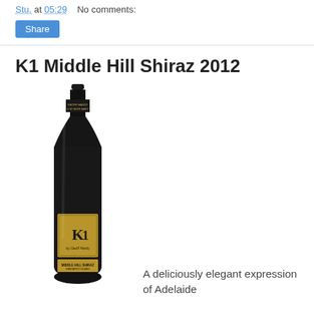Stu. at 05:29   No comments:
Share
K1 Middle Hill Shiraz 2012
[Figure (photo): A dark wine bottle with gold label reading K1 Middle Hill Shiraz]
A deliciously elegant expression of Adelaide